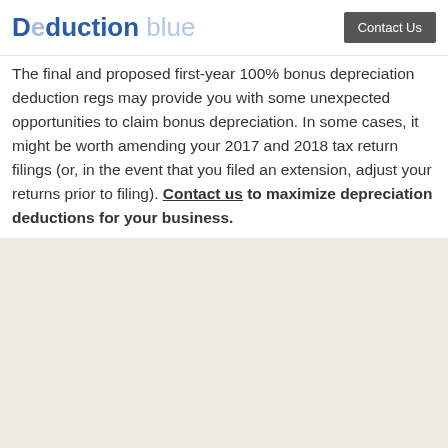Deduction blue | Contact Us
The final and proposed first-year 100% bonus depreciation deduction regs may provide you with some unexpected opportunities to claim bonus depreciation. In some cases, it might be worth amending your 2017 and 2018 tax return filings (or, in the event that you filed an extension, adjust your returns prior to filing). Contact us to maximize depreciation deductions for your business.
Resources
View More Resources
Coronavirus Resources & Information